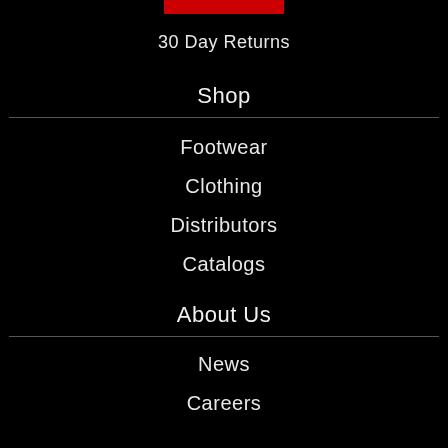[Figure (other): Red rectangular bar at top center, partial view]
30 Day Returns
Shop
Footwear
Clothing
Distributors
Catalogs
About Us
News
Careers